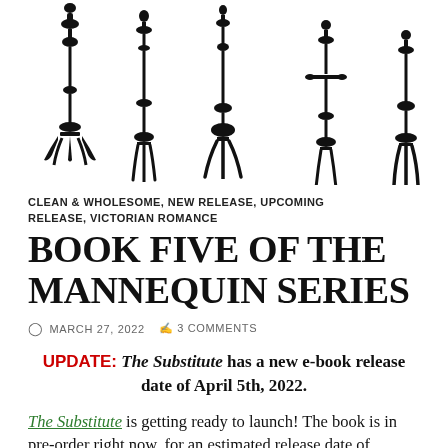[Figure (illustration): Five decorative black silhouette candlestick/scepter/fork-like ornamental objects arranged in a row against white background]
CLEAN & WHOLESOME, NEW RELEASE, UPCOMING RELEASE, VICTORIAN ROMANCE
BOOK FIVE OF THE MANNEQUIN SERIES
MARCH 27, 2022   3 COMMENTS
UPDATE: The Substitute has a new e-book release date of April 5th, 2022.
The Substitute is getting ready to launch! The book is in pre-order right now, for an estimated release date of 4/19/22 but it will likely be published on April 5th, 2022.